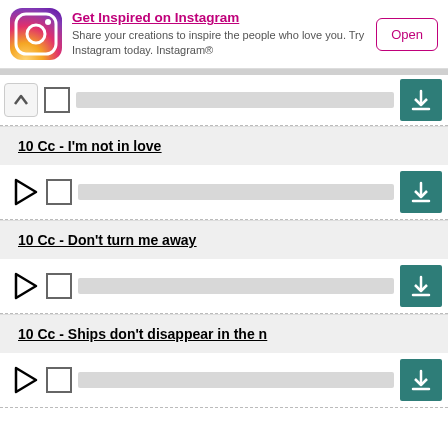[Figure (screenshot): Instagram app advertisement banner with gradient logo, title 'Get Inspired on Instagram', description text, and Open button]
10 Cc - I'm not in love
10 Cc - Don't turn me away
10 Cc - Ships don't disappear in the n